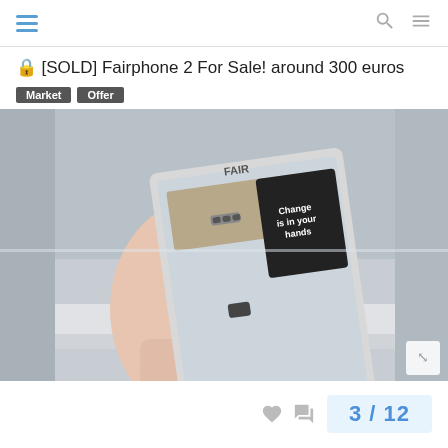navigation header with hamburger menu, search icon, and menu icon
[SOLD] Fairphone 2 For Sale! around 300 euros
Market   Offer
[Figure (photo): A hand holding a Fairphone 2 from behind showing the transparent back cover with internal components visible and a label reading 'Change is in your hands'. The phone is held near a window.]
3 / 12